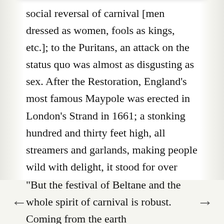social reversal of carnival [men dressed as women, fools as kings, etc.]; to the Puritans, an attack on the status quo was almost as disgusting as sex. After the Restoration, England's most famous Maypole was erected in London's Strand in 1661; a stonking hundred and thirty feet high, all streamers and garlands, making people wild with delight, it stood for over fifty merry years. But Isaac Newton put a stop to it. In 1717, he bought the Maypole to use as a post for a telescope to penetrate the darkness of the night. In the 19th century, the Victorians infantalized May Day, making it a children's festival to emphasize innocence, of all things.
"But the festival of Beltane and the whole spirit of carnival is robust. Coming from the earth